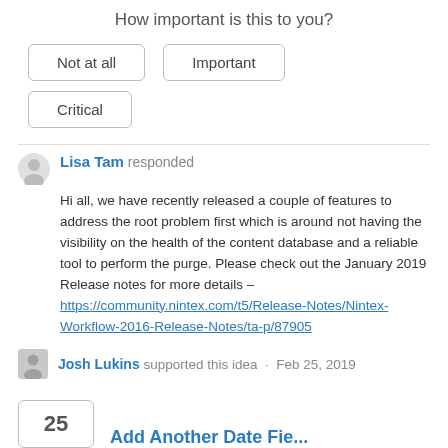How important is this to you?
[Figure (other): Three button options: Not at all, Important, Critical]
Lisa Tam responded
Hi all, we have recently released a couple of features to address the root problem first which is around not having the visibility on the health of the content database and a reliable tool to perform the purge. Please check out the January 2019 Release notes for more details – https://community.nintex.com/t5/Release-Notes/Nintex-Workflow-2016-Release-Notes/ta-p/87905
Josh Lukins supported this idea · Feb 25, 2019